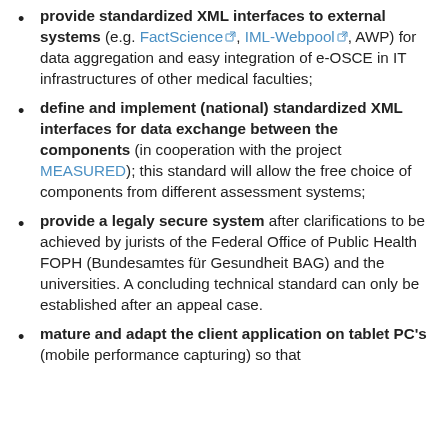provide standardized XML interfaces to external systems (e.g. FactScience, IML-Webpool, AWP) for data aggregation and easy integration of e-OSCE in IT infrastructures of other medical faculties;
define and implement (national) standardized XML interfaces for data exchange between the components (in cooperation with the project MEASURED); this standard will allow the free choice of components from different assessment systems;
provide a legaly secure system after clarifications to be achieved by jurists of the Federal Office of Public Health FOPH (Bundesamtes für Gesundheit BAG) and the universities. A concluding technical standard can only be established after an appeal case.
mature and adapt the client application on tablet PC's (mobile performance capturing) so that